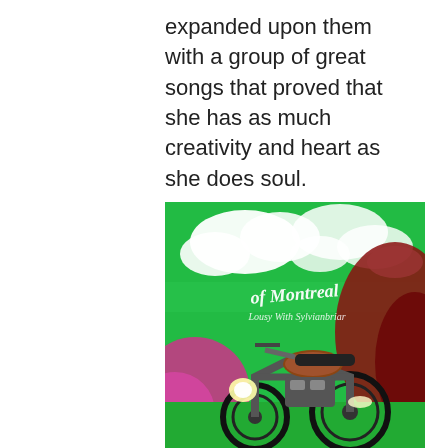expanded upon them with a group of great songs that proved that she has as much creativity and heart as she does soul.
[Figure (photo): Album cover for 'Of Montreal: Lousy With Sylvianbriar' showing a vintage motorcycle on green grass against a vivid green sky with clouds and colorful foliage, with stylized logo text.]
8. Of Montreal: Lousy With Sylvianbriar
I've got to admit that I thought it was an act of desperation when I heard that Kevin Barnes and his collective known as Of Montreal were abandoning their far-out amalgam of Princely funk and psychodelia in favor of a straight ahead